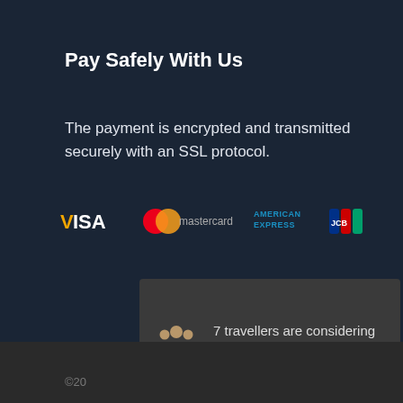Pay Safely With Us
The payment is encrypted and transmitted securely with an SSL protocol.
[Figure (logo): Payment method logos: VISA, Mastercard, American Express, JCB]
7 travellers are considering this tour right now!
©20